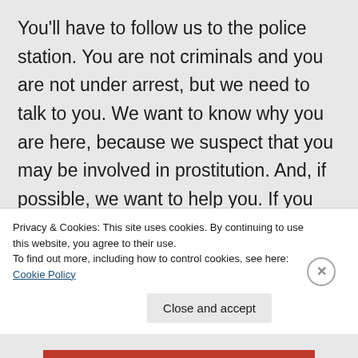You'll have to follow us to the police station. You are not criminals and you are not under arrest, but we need to talk to you. We want to know why you are here, because we suspect that you may be involved in prostitution. And, if possible, we want to help you. If you don't want our help, you will most likely be sent back home to where you live. I am sorry, but you don't have a choice right now. You have to follow
Privacy & Cookies: This site uses cookies. By continuing to use this website, you agree to their use.
To find out more, including how to control cookies, see here: Cookie Policy
Close and accept